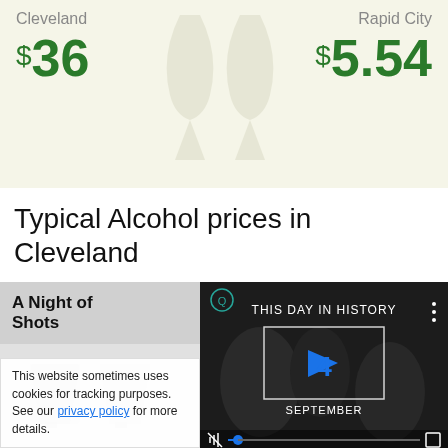[Figure (infographic): Top banner showing Cleveland price $36 vs Rapid City $5.54 with wine glass watermark icons, light yellow background]
Typical Alcohol prices in Cleveland
Some typical examples of the costs for nightlife and alcohol in Cleveland are as follows:
A Night of Shots
[Figure (screenshot): Video player showing 'This Day In History' with play button, September 4, dark background]
This website sometimes uses cookies for tracking purposes. See our privacy policy for more details.